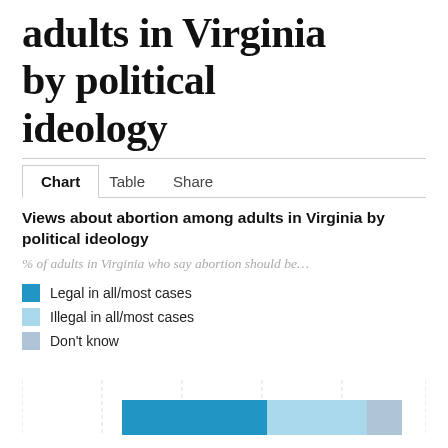adults in Virginia by political ideology
Chart   Table   Share
Views about abortion among adults in Virginia by political ideology
% of adults in Virginia who say abortion should be…
Legal in all/most cases
Illegal in all/most cases
Don't know
[Figure (stacked-bar-chart): Partial stacked bar chart visible at bottom, showing colored bars for Legal in all/most cases (dark blue), Illegal in all/most cases (light blue), Don't know (grey-blue)]